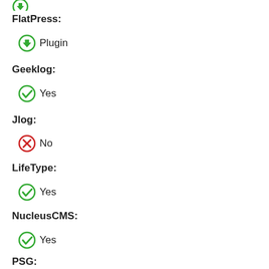FlatPress:
Plugin
Geeklog:
Yes
Jlog:
No
LifeType:
Yes
NucleusCMS:
Yes
PSG:
No
Serendipity:
Plugin